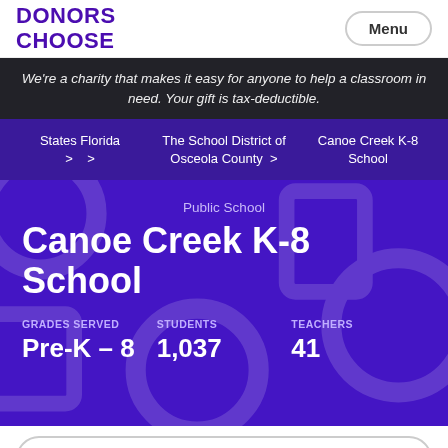DONORS CHOOSE
We're a charity that makes it easy for anyone to help a classroom in need. Your gift is tax-deductible.
States Florida > > The School District of Osceola County > Canoe Creek K-8 School
Public School
Canoe Creek K-8 School
GRADES SERVED Pre-K - 8 STUDENTS 1,037 TEACHERS 41
Follow school for updates